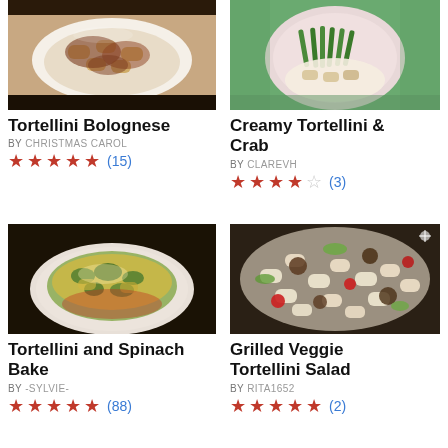[Figure (photo): Photo of Tortellini Bolognese pasta dish with meat sauce on a white plate]
Tortellini Bolognese
BY CHRISTMAS CAROL
★★★★★ (15)
[Figure (photo): Photo of Creamy Tortellini & Crab with green beans on a pink plate with green placemat]
Creamy Tortellini & Crab
BY CLAREVH
★★★★☆ (3)
[Figure (photo): Photo of Tortellini and Spinach Bake with melted cheese in a white dish]
Tortellini and Spinach Bake
BY -SYLVIE-
★★★★★ (88)
[Figure (photo): Photo of Grilled Veggie Tortellini Salad with mushrooms, tomatoes, and herbs]
Grilled Veggie Tortellini Salad
BY RITA1652
★★★★★ (2)